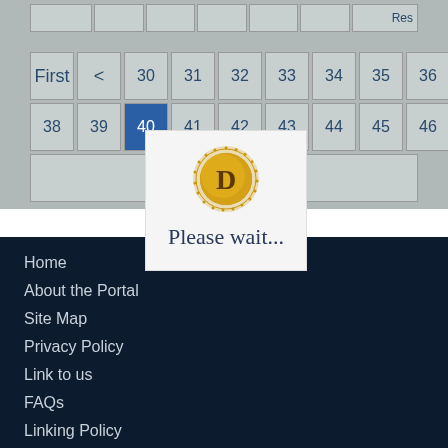|  | Res |
| First | < | 30 | 31 | 32 | 33 | 34 | 35 | 36 | 37 |
| --- | --- | --- | --- | --- | --- | --- | --- | --- | --- |
| 38 | 39 | 40* | 41 | 42 | 43 | 44 | 45 | 46 | 47 |
| > |  |  |  |  |  |  |  |  |  |
[Figure (logo): Gold coin with letter D, surrounded by decorative sunburst pattern]
Please wait...
Home
About the Portal
Site Map
Privacy Policy
Link to us
FAQs
Linking Policy